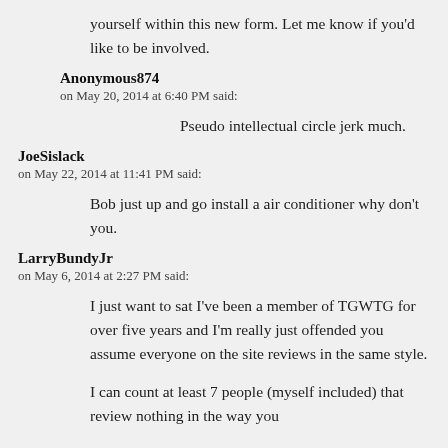yourself within this new form. Let me know if you'd like to be involved.
Anonymous874
on May 20, 2014 at 6:40 PM said:
Pseudo intellectual circle jerk much.
JoeSislack
on May 22, 2014 at 11:41 PM said:
Bob just up and go install a air conditioner why don't you.
LarryBundyJr
on May 6, 2014 at 2:27 PM said:
I just want to sat I've been a member of TGWTG for over five years and I'm really just offended you assume everyone on the site reviews in the same style.
I can count at least 7 people (myself included) that review nothing in the way you